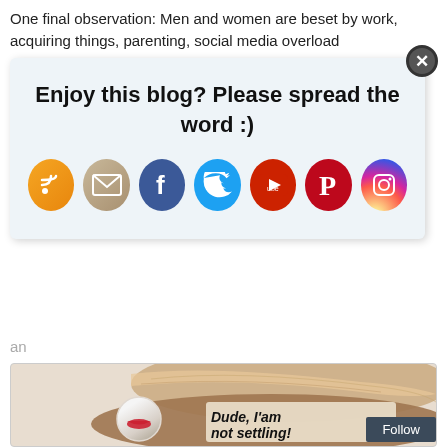One final observation: Men and women are beset by work, acquiring things, parenting, social media overload
[Figure (screenshot): Blog share popup overlay with title 'Enjoy this blog? Please spread the word :)' and 7 social media icon buttons (RSS, Email, Facebook, Twitter, YouTube, Pinterest, Instagram) on a light blue-grey background, with an X close button in the top right corner.]
an
[Figure (photo): An open oyster shell with a pearl inside. The pearl has a red lip/smile graphic on it. Text overlay reads 'Dude, I'am not settling!' in bold italic font. A 'Follow' button appears in the lower right corner.]